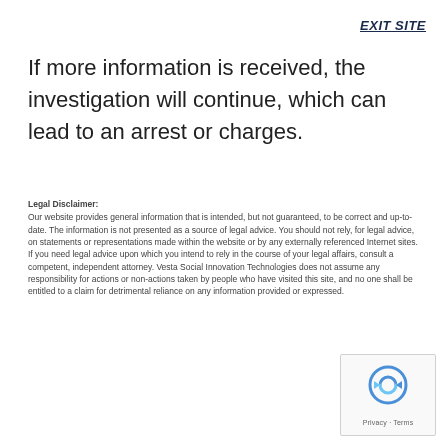EXIT SITE
If more information is received, the investigation will continue, which can lead to an arrest or charges.
Legal Disclaimer:
Our website provides general information that is intended, but not guaranteed, to be correct and up-to-date. The information is not presented as a source of legal advice. You should not rely, for legal advice, on statements or representations made within the website or by any externally referenced Internet sites. If you need legal advice upon which you intend to rely in the course of your legal affairs, consult a competent, independent attorney. Vesta Social Innovation Technologies does not assume any responsibility for actions or non-actions taken by people who have visited this site, and no one shall be entitled to a claim for detrimental reliance on any information provided or expressed.
[Figure (logo): reCAPTCHA badge with Privacy and Terms links]